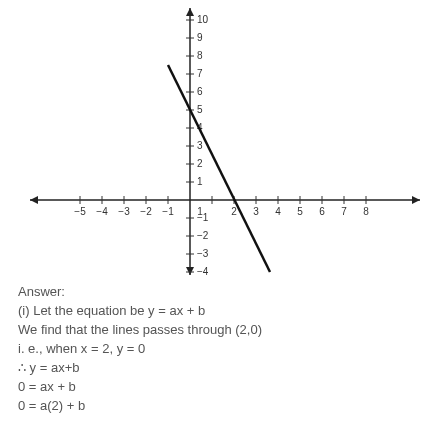[Figure (continuous-plot): Coordinate grid with a straight line passing through approximately (2,0) and with y-intercept at 5. The line has negative slope going from upper-left to lower-right.]
Answer:
(i) Let the equation be y = ax + b
We find that the lines passes through (2,0)
i. e., when x = 2, y = 0
∴ y = ax+b
0 = ax + b
0 = a(2) + b